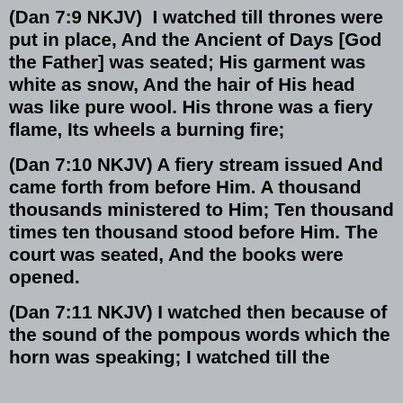(Dan 7:9 NKJV)  I watched till thrones were put in place, And the Ancient of Days [God the Father] was seated; His garment was white as snow, And the hair of His head was like pure wool. His throne was a fiery flame, Its wheels a burning fire;
(Dan 7:10 NKJV) A fiery stream issued And came forth from before Him. A thousand thousands ministered to Him; Ten thousand times ten thousand stood before Him. The court was seated, And the books were opened.
(Dan 7:11 NKJV) I watched then because of the sound of the pompous words which the horn was speaking; I watched till the